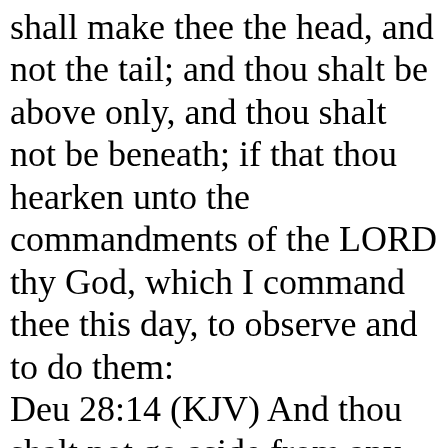shall make thee the head, and not the tail; and thou shalt be above only, and thou shalt not be beneath; if that thou hearken unto the commandments of the LORD thy God, which I command thee this day, to observe and to do them: Deu 28:14 (KJV) And thou shalt not go aside from any of the words which I command thee this day, to the right hand, or to the left, to go after other gods to